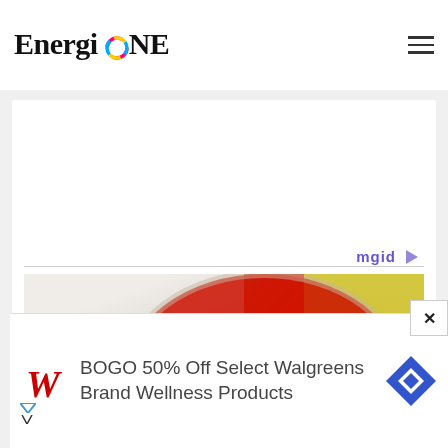EnergioNE
[Figure (logo): EnergiONE logo with colorful circular swoosh replacing the O]
[Figure (photo): Close-up of gloved hands holding a red petri dish with bacterial cultures being inoculated with a loop]
mgid
Monkeypox: We Need To Anticipate
[Figure (screenshot): Advertisement: BOGO 50% Off Select Walgreens Brand Wellness Products with Walgreens logo and navigation icon]